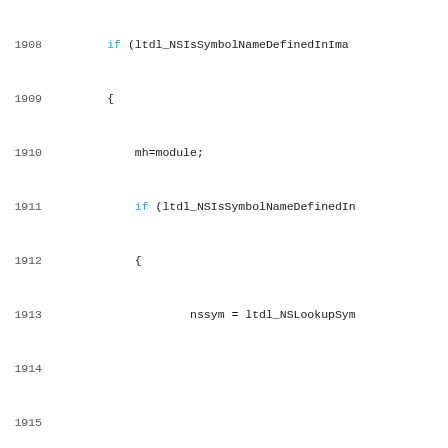Source code listing lines 1908-1937, C programming language code snippet showing symbol lookup logic with NSLookupSymbolInModule and lt_int_dyld functions